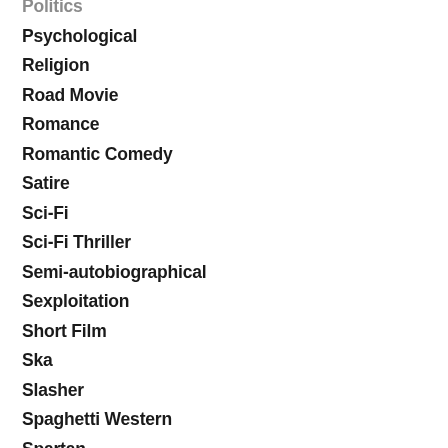Politics
Psychological
Religion
Road Movie
Romance
Romantic Comedy
Satire
Sci-Fi
Sci-Fi Thriller
Semi-autobiographical
Sexploitation
Short Film
Ska
Slasher
Spaghetti Western
Spartan
Splatter
Spoof